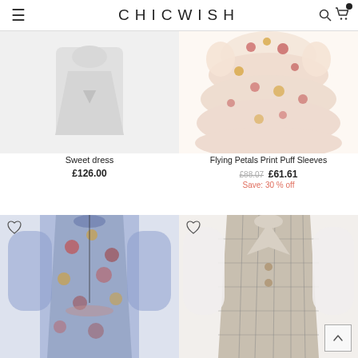CHICWISH
[Figure (photo): Sweet dress product photo on light grey background]
Sweet dress
£126.00
[Figure (photo): Flying Petals Print Puff Sleeves dress with floral pattern, pink and yellow flowers]
Flying Petals Print Puff Sleeves
£88.07  £61.61
Save: 30 % off
[Figure (photo): Blue floral print dress with long sleeves and tie waist]
[Figure (photo): Plaid check double-breasted blazer dress with sheer white sleeves]